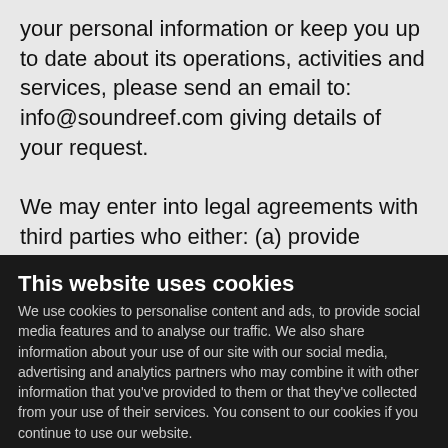your personal information or keep you up to date about its operations, activities and services, please send an email to: info@soundreef.com giving details of your request.

We may enter into legal agreements with third parties who either: (a) provide vendor services to us (e.g. data management, billing, and storage services) or, when necessary, (b) assist us in completing or effectuating payment of royalties
This website uses cookies
We use cookies to personalise content and ads, to provide social media features and to analyse our traffic. We also share information about your use of our site with our social media, advertising and analytics partners who may combine it with other information that you've provided to them or that they've collected from your use of their services. You consent to our cookies if you continue to use our website.
OK
Necessary  Preferences  Statistics  Marketing  Show details